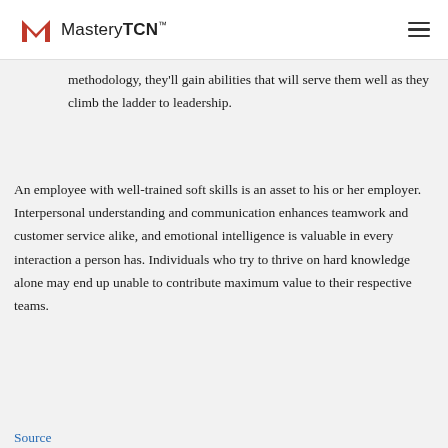MasteryTCN
methodology, they'll gain abilities that will serve them well as they climb the ladder to leadership.
An employee with well-trained soft skills is an asset to his or her employer. Interpersonal understanding and communication enhances teamwork and customer service alike, and emotional intelligence is valuable in every interaction a person has. Individuals who try to thrive on hard knowledge alone may end up unable to contribute maximum value to their respective teams.
Source